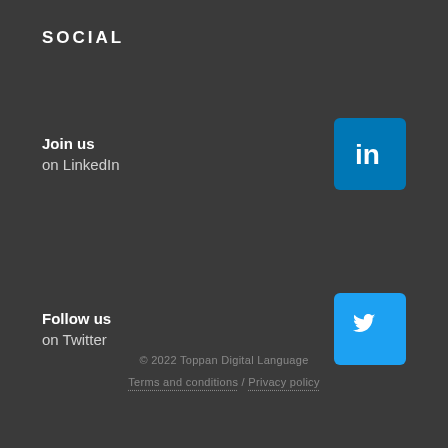SOCIAL
Join us
on LinkedIn
[Figure (logo): LinkedIn logo icon — white 'in' text on blue rounded square background]
Follow us
on Twitter
[Figure (logo): Twitter logo icon — white bird on blue rounded square background]
© 2022 Toppan Digital Language
Terms and conditions / Privacy policy